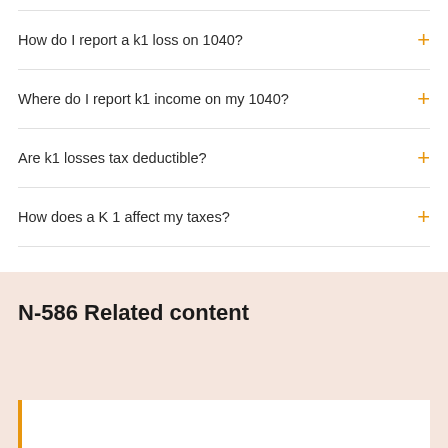How do I report a k1 loss on 1040?
Where do I report k1 income on my 1040?
Are k1 losses tax deductible?
How does a K 1 affect my taxes?
N-586 Related content